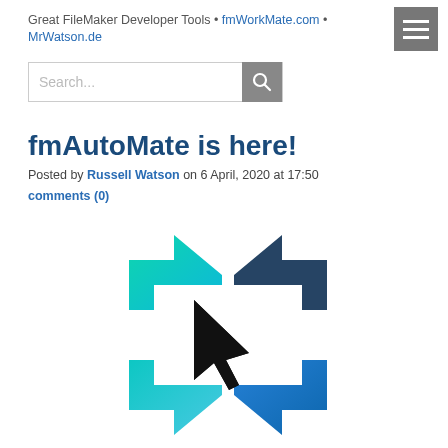Great FileMaker Developer Tools • fmWorkMate.com • MrWatson.de
Search...
fmAutoMate is here!
Posted by Russell Watson on 6 April, 2020 at 17:50 comments (0)
[Figure (logo): fmAutoMate logo: arrows pointing in four directions (up-left teal, up-right dark blue, down-right blue, down-left teal gradient) around a black mouse cursor arrow in the center on a white background.]